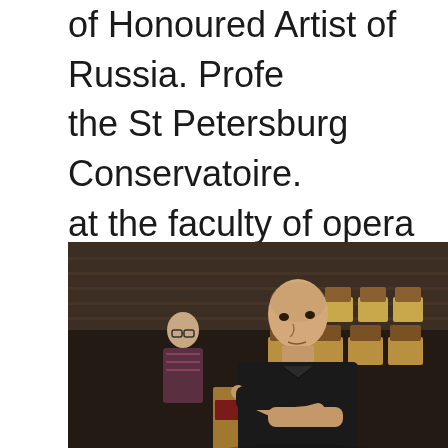of Honoured Artist of Russia. Profe the St Petersburg Conservatoire. at the faculty of opera conducting of the St Petersburg Conservatoire
[Figure (photo): A man in a black shirt seated in what appears to be a theater or auditorium with wooden chairs. Another person is partially visible in the background on the left side.]